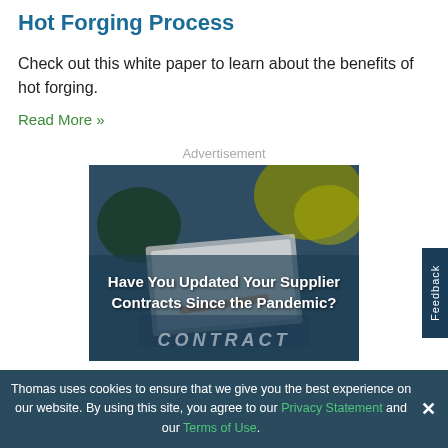Hot Forging Process
Check out this white paper to learn about the benefits of hot forging.
Read More »
Advertisement
[Figure (photo): Advertisement image showing a blurred background with yellow objects and a CONTRACT document in foreground, overlaid with text: 'Have You Updated Your Supplier Contracts Since the Pandemic?']
Thomas uses cookies to ensure that we give you the best experience on our website. By using this site, you agree to our Privacy Statement and our Terms of Use.